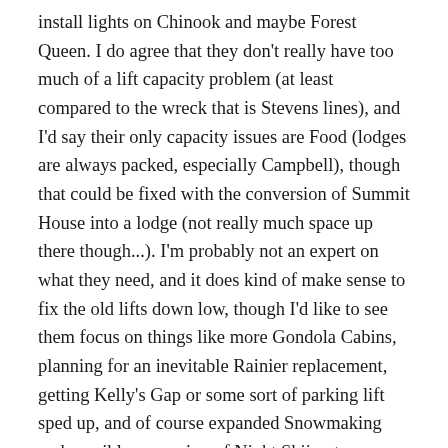install lights on Chinook and maybe Forest Queen. I do agree that they don't really have too much of a lift capacity problem (at least compared to the wreck that is Stevens lines), and I'd say their only capacity issues are Food (lodges are always packed, especially Campbell), though that could be fixed with the conversion of Summit House into a lodge (not really much space up there though...). I'm probably not an expert on what they need, and it does kind of make sense to fix the old lifts down low, though I'd like to see them focus on things like more Gondola Cabins, planning for an inevitable Rainier replacement, getting Kelly's Gap or some sort of parking lift sped up, and of course expanded Snowmaking and possible expansion of Night Skiing to Chinook and